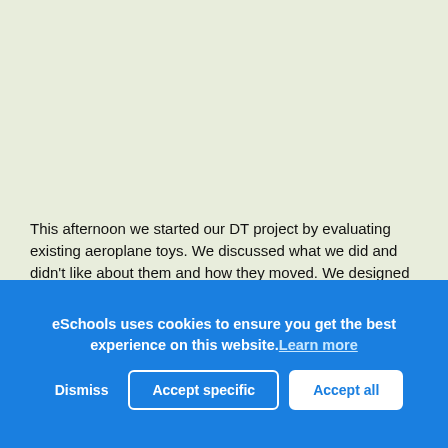This afternoon we started our DT project by evaluating existing aeroplane toys. We discussed what we did and didn't like about them and how they moved. We designed our own toys to move, be colourful and big enough for a child to hold. After that, we learned about wheels and axels and practised making them for our aeroplanes.
eSchools uses cookies to ensure you get the best experience on this website. Learn more
Dismiss | Accept specific | Accept all